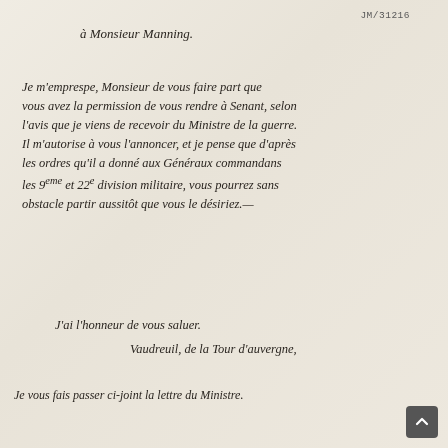JM/31216
à Monsieur Manning.
Je m'emprespe, Monsieur de vous faire part que vous avez la permission de vous rendre à Senant, selon l'avis que je viens de recevoir du Ministre de la guerre. Il m'autorise à vous l'annoncer, et je pense que d'après les ordres qu'il a donné aux Généraux commandans les 9eme et 22e division militaire, vous pourrez sans obstacle partir aussitôt que vous le désiriez.
J'ai l'honneur de vous saluer.
Vaudreuil, de la Tour d'auvergne,
Je vous fais passer ci-joint la lettre du Ministre.